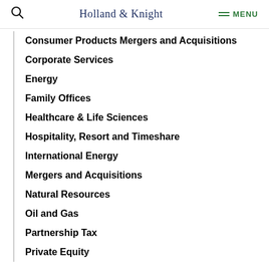Holland & Knight  MENU
Consumer Products Mergers and Acquisitions
Corporate Services
Energy
Family Offices
Healthcare & Life Sciences
Hospitality, Resort and Timeshare
International Energy
Mergers and Acquisitions
Natural Resources
Oil and Gas
Partnership Tax
Private Equity